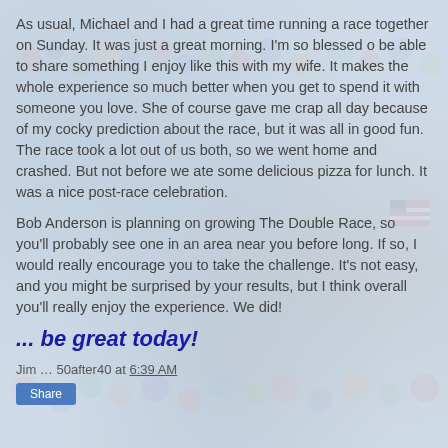As usual, Michael and I had a great time running a race together on Sunday.  It was just a great morning.   I'm so blessed o be able to share something I enjoy like this with my wife.  It makes the whole experience so much better when you get to spend it with someone you love.  She of course gave me crap all day because of my cocky prediction about the race, but it was all in good fun.  The race took a lot out of us both, so we went home and crashed.  But not before we ate some delicious pizza for lunch.  It was a nice post-race celebration.
Bob Anderson is planning on growing The Double Race, so you'll probably see one in an area near you before long.  If so, I would really encourage you to take the challenge.  It's not easy, and you might be surprised by your results, but I think overall you'll really enjoy the experience.  We did!
... be great today!
Jim … 50after40 at 6:39 AM